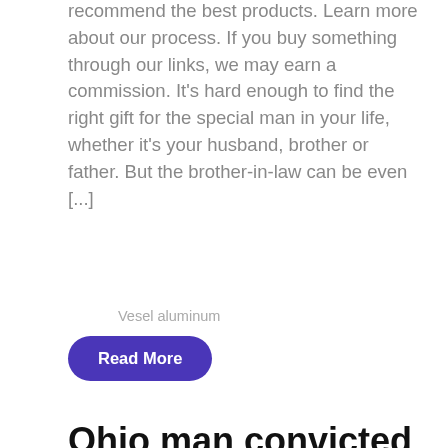recommend the best products. Learn more about our process. If you buy something through our links, we may earn a commission. It's hard enough to find the right gift for the special man in your life, whether it's your husband, brother or father. But the brother-in-law can be even [...]
Vesel aluminum
Read More
Ohio man convicted of dropping pipe bomb...
CINCINNATI (WXIX) — An Ohio man has been